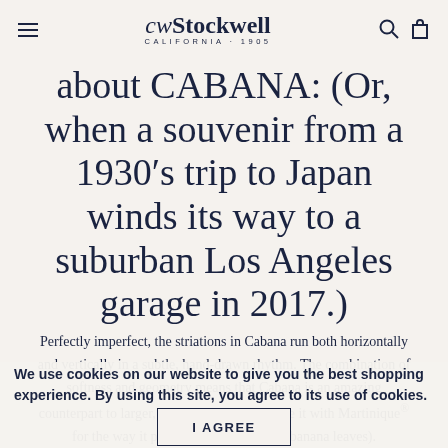cw Stockwell CALIFORNIA·1905
about CABANA: (Or, when a souvenir from a 1930′s trip to Japan winds its way to a suburban Los Angeles garage in 2017.)
Perfectly imperfect, the striations in Cabana run both horizontally and vertically in a subtle, hand-drawn rhythm. The combination of softness and geometry means that Cabana is an amazing counterpart to larger, bolder patterns (we love it with Martinique® for the way it picks up the veins in the banana leaves).
We use cookies on our website to give you the best shopping experience. By using this site, you agree to its use of cookies.
I AGREE
To say we were joyful when we discovered this beautiful piece of history in a small stack of